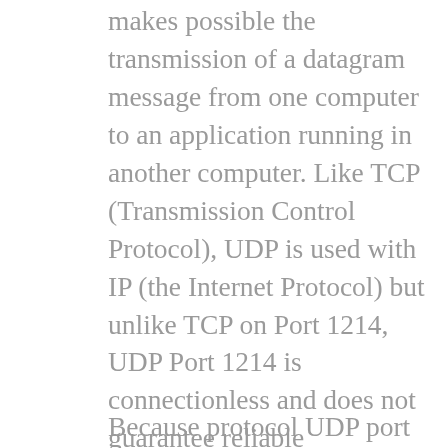makes possible the transmission of a datagram message from one computer to an application running in another computer. Like TCP (Transmission Control Protocol), UDP is used with IP (the Internet Protocol) but unlike TCP on Port 1214, UDP Port 1214 is connectionless and does not guarantee reliable communication; it's up to the application that received the message on Port 1214 to process any errors and verify correct delivery.
Because protocol UDP port 1214 was